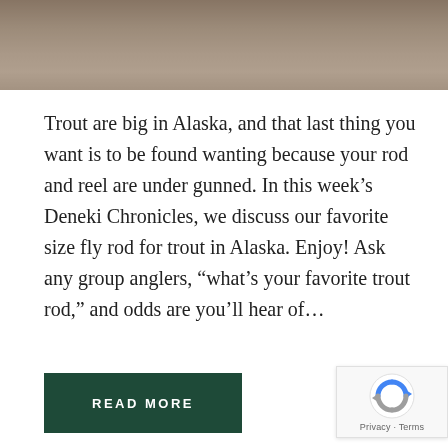[Figure (photo): Cropped photo strip at top of page showing a blurred outdoor/fishing scene]
Trout are big in Alaska, and that last thing you want is to be found wanting because your rod and reel are under gunned. In this week’s Deneki Chronicles, we discuss our favorite size fly rod for trout in Alaska. Enjoy! Ask any group anglers, “what’s your favorite trout rod,” and odds are you’ll hear of…
READ MORE
[Figure (other): reCAPTCHA badge with Privacy and Terms links]